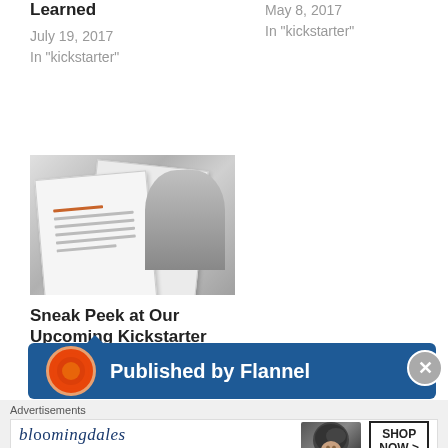Learned
July 19, 2017
In "kickstarter"
May 8, 2017
In "kickstarter"
[Figure (photo): Grayscale image of papers/documents and a person]
Sneak Peek at Our Upcoming Kickstarter
May 3, 2017
In "kickstarter"
Published by Flannel
Advertisements
bloomingdales — View Today's Top Deals! SHOP NOW >